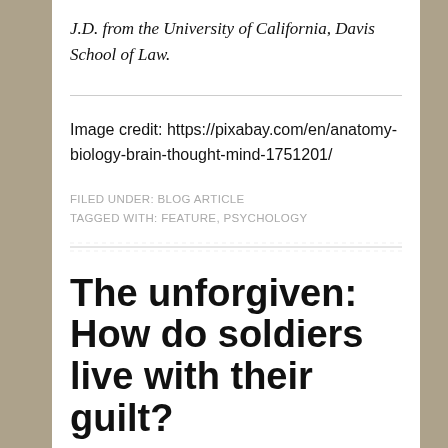J.D. from the University of California, Davis School of Law.
Image credit: https://pixabay.com/en/anatomy-biology-brain-thought-mind-1751201/
FILED UNDER: BLOG ARTICLE
TAGGED WITH: FEATURE, PSYCHOLOGY
The unforgiven: How do soldiers live with their guilt?